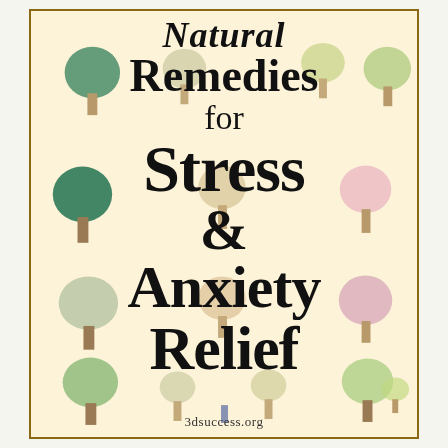[Figure (illustration): Book cover with cream/peach background featuring colorful cartoon trees arranged around large bold text. Trees in shades of green, sage, pink, and yellow-green with brown trunks, arranged in rows on left and right sides and at bottom.]
Natural Remedies for Stress & Anxiety Relief
3dsuccess.org